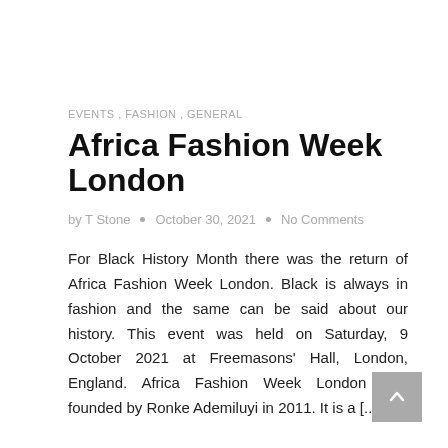EVENTS , FASHION , GENERAL
Africa Fashion Week London
by T Stone  •  October 30, 2021  •  No Comments
For Black History Month there was the return of Africa Fashion Week London. Black is always in fashion and the same can be said about our history. This event was held on Saturday, 9 October 2021 at Freemasons' Hall, London, England. Africa Fashion Week London was founded by Ronke Ademiluyi in 2011. It is a [...]